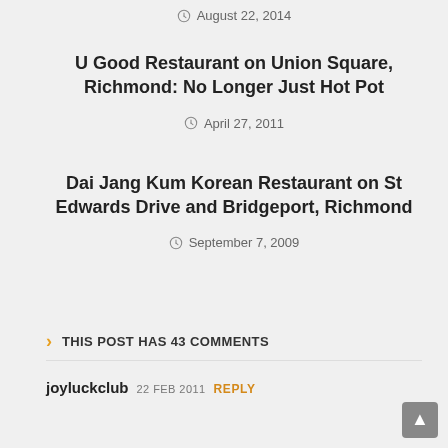August 22, 2014
U Good Restaurant on Union Square, Richmond: No Longer Just Hot Pot
April 27, 2011
Dai Jang Kum Korean Restaurant on St Edwards Drive and Bridgeport, Richmond
September 7, 2009
THIS POST HAS 43 COMMENTS
joyluckclub 22 FEB 2011 REPLY